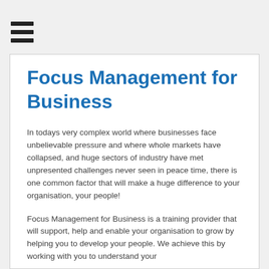[Figure (other): Hamburger menu icon with three horizontal bars]
Focus Management for Business
In todays very complex world where businesses face unbelievable pressure and where whole markets have collapsed, and huge sectors of industry have met unpresented challenges never seen in peace time, there is one common factor that will make a huge difference to your organisation, your people!
Focus Management for Business is a training provider that will support, help and enable your organisation to grow by helping you to develop your people. We achieve this by working with you to understand your organisation and then develop solutions to help